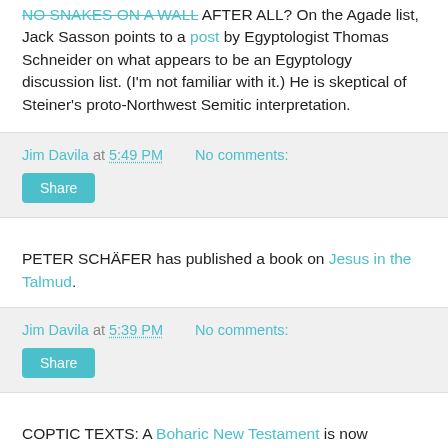NO SNAKES ON A WALL AFTER ALL? On the Agade list, Jack Sasson points to a post by Egyptologist Thomas Schneider on what appears to be an Egyptology discussion list. (I'm not familiar with it.) He is skeptical of Steiner's proto-Northwest Semitic interpretation.
Jim Davila at 5:49 PM   No comments:
Share
PETER SCHÄFER has published a book on Jesus in the Talmud.
Jim Davila at 5:39 PM   No comments:
Share
COPTIC TEXTS: A Boharic New Testament is now available